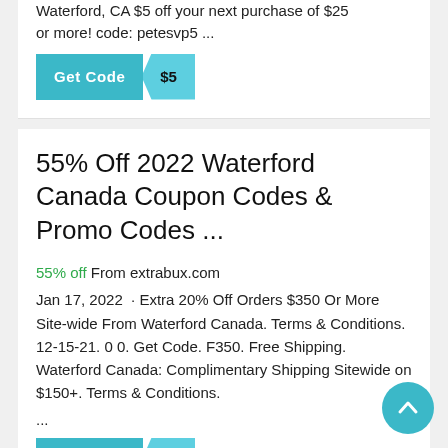Waterford, CA $5 off your next purchase of $25 or more! code: petesvp5 ...
[Figure (other): Get Code button with $5 badge in teal]
55% Off 2022 Waterford Canada Coupon Codes & Promo Codes ...
55% off From extrabux.com
Jan 17, 2022  · Extra 20% Off Orders $350 Or More Site-wide From Waterford Canada. Terms & Conditions. 12-15-21. 0 0. Get Code. F350. Free Shipping. Waterford Canada: Complimentary Shipping Sitewide on $150+. Terms & Conditions.
...
[Figure (other): Get Code button with 55 badge in teal]
[Figure (other): Scroll to top circular teal button with upward arrow]